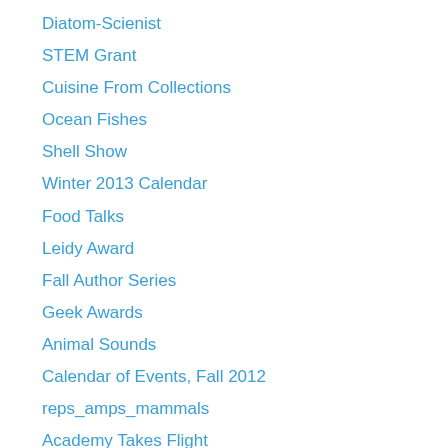Diatom-Scienist
STEM Grant
Cuisine From Collections
Ocean Fishes
Shell Show
Winter 2013 Calendar
Food Talks
Leidy Award
Fall Author Series
Geek Awards
Animal Sounds
Calendar of Events, Fall 2012
reps_amps_mammals
Academy Takes Flight